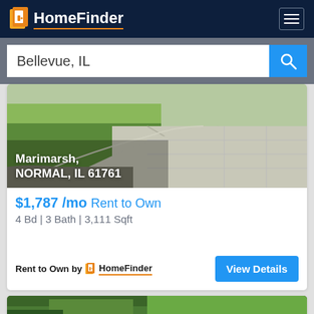HomeFinder
Bellevue, IL
[Figure (photo): Aerial/ground view of a driveway and lawn area of a property in Marimarsh, NORMAL, IL 61761]
$1,787 /mo Rent to Own
4 Bd | 3 Bath | 3,111 Sqft
Rent to Own by HomeFinder
[Figure (photo): Partial view of another property listing image showing trees]